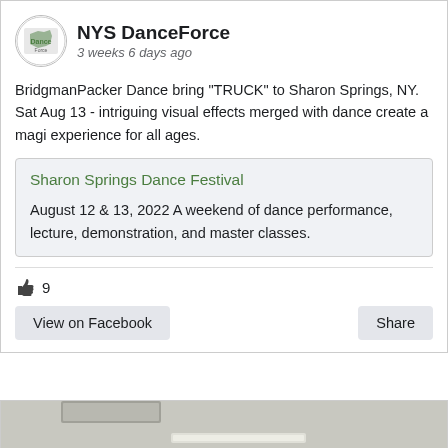NYS DanceForce
3 weeks 6 days ago
BridgmanPacker Dance bring "TRUCK" to Sharon Springs, NY. Sat Aug 13 - intriguing visual effects merged with dance create a magi experience for all ages.
Sharon Springs Dance Festival
August 12 & 13, 2022 A weekend of dance performance, lecture, demonstration, and master classes.
9
View on Facebook
Share
[Figure (photo): Interior ceiling photo showing overhead fluorescent lighting in what appears to be a studio or hallway]